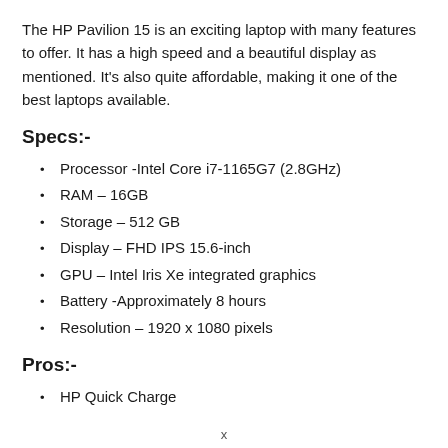The HP Pavilion 15 is an exciting laptop with many features to offer. It has a high speed and a beautiful display as mentioned. It's also quite affordable, making it one of the best laptops available.
Specs:-
Processor -Intel Core i7-1165G7 (2.8GHz)
RAM – 16GB
Storage – 512 GB
Display – FHD IPS 15.6-inch
GPU – Intel Iris Xe integrated graphics
Battery -Approximately 8 hours
Resolution – 1920 x 1080 pixels
Pros:-
HP Quick Charge
x